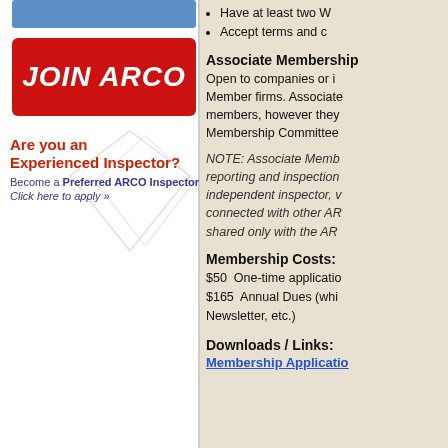[Figure (other): Blue banner bar at top of left column]
[Figure (other): Red JOIN ARCO button with bold italic white text]
[Figure (other): Are you an Experienced Inspector? Become a Preferred ARCO Inspector. Click here to apply. With diamond/envelope shapes in background.]
Have at least two W
Accept terms and c
Associate Membership
Open to companies or i Member firms. Associate members, however they Membership Committee
NOTE: Associate Memb reporting and inspection independent inspector, v connected with other AR shared only with the AR
Membership Costs:
$50  One-time applicatio
$165  Annual Dues (whi Newsletter, etc.)
Downloads / Links:
Membership Applicatio